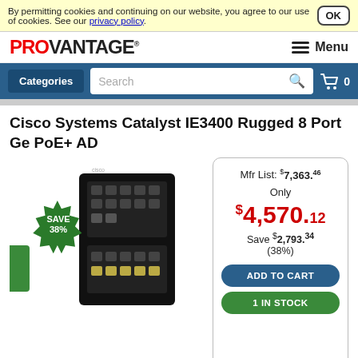By permitting cookies and continuing on our website, you agree to our use of cookies. See our privacy policy. OK
[Figure (logo): PROVANTAGE logo in red and black]
Menu
Categories
Search
0
Cisco Systems Catalyst IE3400 Rugged 8 Port Ge PoE+ AD
[Figure (photo): Cisco Catalyst IE3400 Rugged 8 Port switch photo with SAVE 38% badge]
Click image to enlarge or see more views.
Mfr List: $7,363.46
Only
$4,570.12
Save $2,793.34 (38%)
ADD TO CART
1 IN STOCK